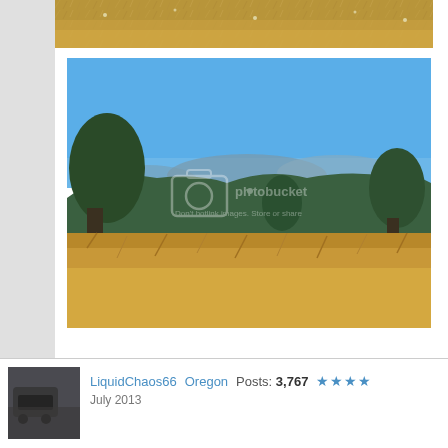[Figure (photo): Top cropped photo showing dry golden grass / straw field]
[Figure (photo): Landscape photo of mountain view with blue sky, trees, and dry golden grass meadow in foreground. Photobucket watermark visible.]
LiquidChaos66  Oregon  Posts: 3,767  ★★★★
July 2013